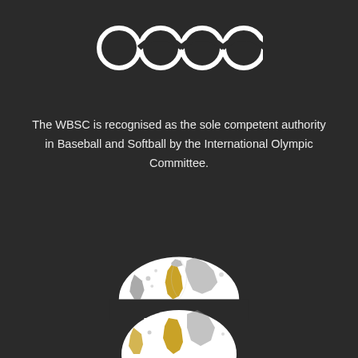[Figure (logo): Olympic rings logo - five interlocking rings in white outline on dark background]
The WBSC is recognised as the sole competent authority in Baseball and Softball by the International Olympic Committee.
[Figure (logo): WBSC Africa logo - white globe/world map with gold Africa continent highlighted, text WBSC in bold white, horizontal line, text AFRICA below]
[Figure (logo): Partial WBSC logo at bottom - globe/world map with gold and white coloring, partially visible]